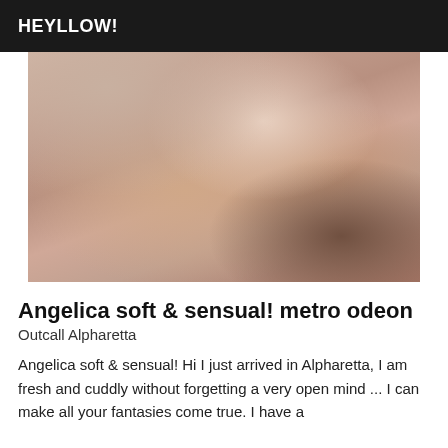HEYLLOW!
[Figure (photo): A person in a white top posing on a couch, partial body view]
Angelica soft & sensual! metro odeon
Outcall Alpharetta
Angelica soft & sensual! Hi I just arrived in Alpharetta, I am fresh and cuddly without forgetting a very open mind ... I can make all your fantasies come true. I have a